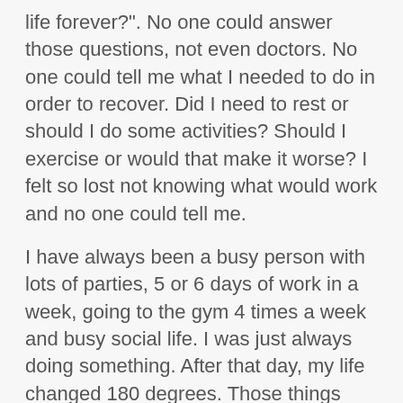life forever?". No one could answer those questions, not even doctors. No one could tell me what I needed to do in order to recover. Did I need to rest or should I do some activities? Should I exercise or would that make it worse? I felt so lost not knowing what would work and no one could tell me.
I have always been a busy person with lots of parties, 5 or 6 days of work in a week, going to the gym 4 times a week and busy social life. I was just always doing something. After that day, my life changed 180 degrees. Those things disappeared. The hardest part was just from the inside since I really wanted to do all these things so badly, to get my "normal" life back. But I couldn't, not when my head and body did not cooperate. I had so many kickbacks because I felt so frustrated and tried things anyway even if I knew on forehand I couldn't. The "acting